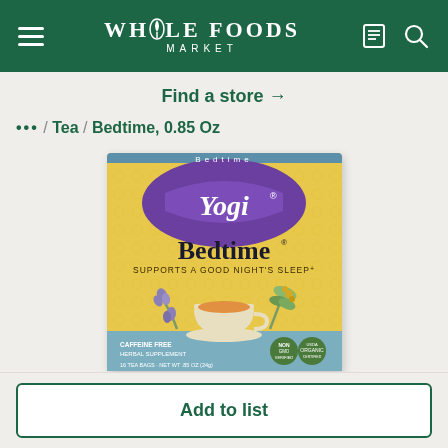Whole Foods Market
Find a store →
... / Tea / Bedtime, 0.85 Oz
[Figure (photo): Yogi Bedtime Tea box product image. Yellow and blue box with purple Yogi logo shield, text 'Bedtime Supports A Good Night's Sleep+', showing a tea cup with lavender and herbs. CAFFEINE FREE HERBAL SUPPLEMENT. 16 TEA BAGS - NET WT .85 OZ (24g). USDA Organic certified.]
Add to list